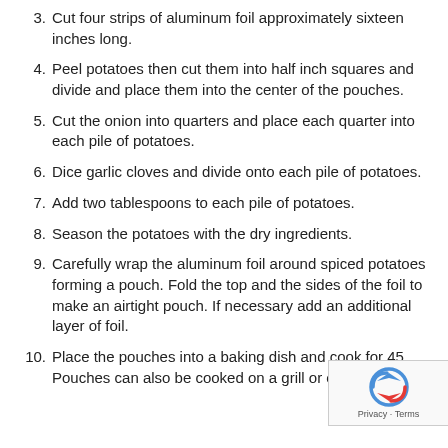3. Cut four strips of aluminum foil approximately sixteen inches long.
4. Peel potatoes then cut them into half inch squares and divide and place them into the center of the pouches.
5. Cut the onion into quarters and place each quarter into each pile of potatoes.
6. Dice garlic cloves and divide onto each pile of potatoes.
7. Add two tablespoons to each pile of potatoes.
8. Season the potatoes with the dry ingredients.
9. Carefully wrap the aluminum foil around spiced potatoes forming a pouch. Fold the top and the sides of the foil to make an airtight pouch. If necessary add an additional layer of foil.
10. Place the pouches into a baking dish and cook for 45... Pouches can also be cooked on a grill or over a cam...